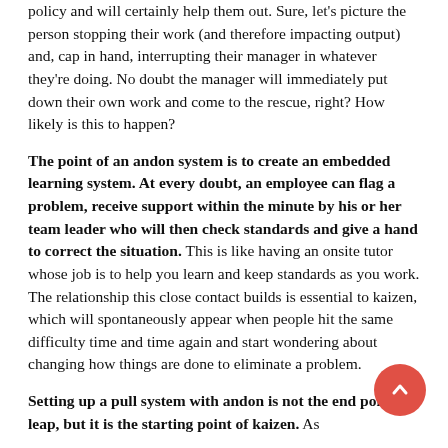policy and will certainly help them out. Sure, let's picture the person stopping their work (and therefore impacting output) and, cap in hand, interrupting their manager in whatever they're doing. No doubt the manager will immediately put down their own work and come to the rescue, right? How likely is this to happen?
The point of an andon system is to create an embedded learning system. At every doubt, an employee can flag a problem, receive support within the minute by his or her team leader who will then check standards and give a hand to correct the situation. This is like having an onsite tutor whose job is to help you learn and keep standards as you work. The relationship this close contact builds is essential to kaizen, which will spontaneously appear when people hit the same difficulty time and time again and start wondering about changing how things are done to eliminate a problem.
Setting up a pull system with andon is not the end point of leap, but it is the starting point of kaizen. As